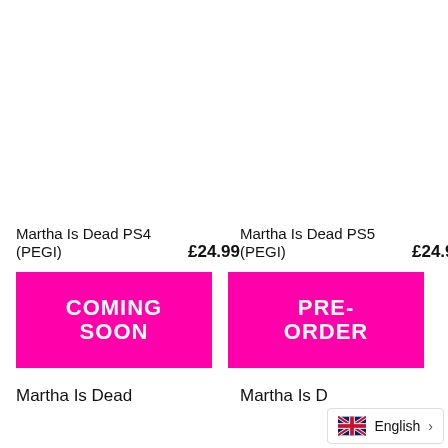Martha Is Dead PS4 (PEGI)   £24.99
Martha Is Dead PS5 (PEGI)   £24.99
[Figure (other): Pink COMING SOON button]
[Figure (other): Pink PRE-ORDER button]
Martha Is Dead
Martha Is D
[Figure (other): UK flag icon with English language selector and right arrow]